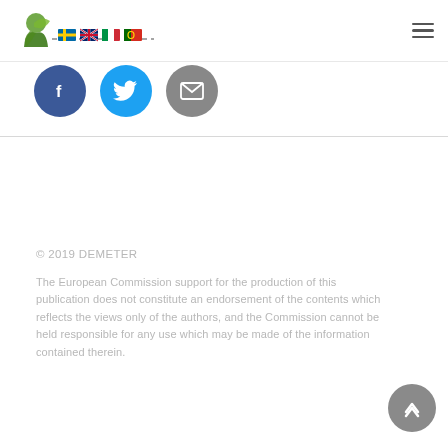DEMETER logo with country flags and hamburger menu
[Figure (logo): DEMETER project logo with green leaf/figure graphic and country flag icons (Swedish, UK, Italian, Portuguese)]
[Figure (infographic): Three circular social sharing buttons: Facebook (blue), Twitter (light blue), Email (grey)]
© 2019 DEMETER
The European Commission support for the production of this publication does not constitute an endorsement of the contents which reflects the views only of the authors, and the Commission cannot be held responsible for any use which may be made of the information contained therein.